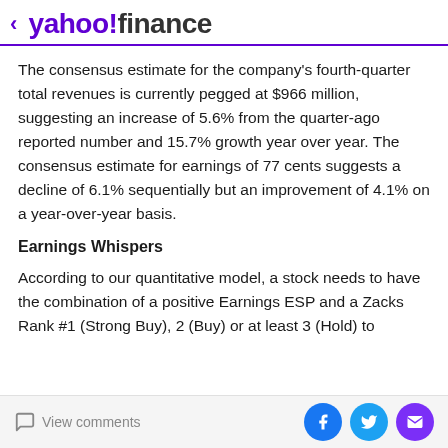< yahoo!finance
The consensus estimate for the company's fourth-quarter total revenues is currently pegged at $966 million, suggesting an increase of 5.6% from the quarter-ago reported number and 15.7% growth year over year. The consensus estimate for earnings of 77 cents suggests a decline of 6.1% sequentially but an improvement of 4.1% on a year-over-year basis.
Earnings Whispers
According to our quantitative model, a stock needs to have the combination of a positive Earnings ESP and a Zacks Rank #1 (Strong Buy), 2 (Buy) or at least 3 (Hold) to
View comments